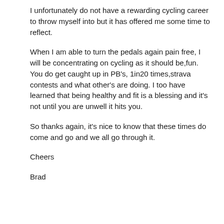I unfortunately do not have a rewarding cycling career to throw myself into but it has offered me some time to reflect.
When I am able to turn the pedals again pain free, I will be concentrating on cycling as it should be,fun. You do get caught up in PB's, 1in20 times,strava contests and what other's are doing. I too have learned that being healthy and fit is a blessing and it's not until you are unwell it hits you.
So thanks again, it's nice to know that these times do come and go and we all go through it.
Cheers
Brad